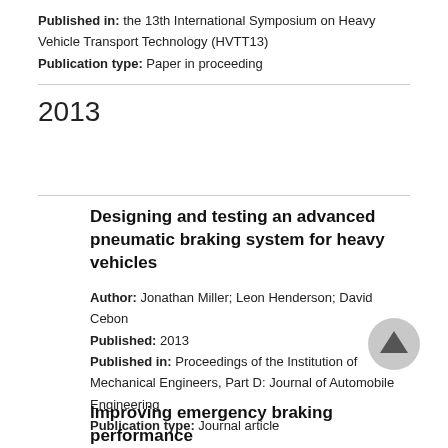Published in: the 13th International Symposium on Heavy Vehicle Transport Technology (HVTT13)
Publication type: Paper in proceeding
2013
Designing and testing an advanced pneumatic braking system for heavy vehicles
Author: Jonathan Miller; Leon Henderson; David Cebon
Published: 2013
Published in: Proceedings of the Institution of Mechanical Engineers, Part D: Journal of Automobile Engineering
Publication type: Journal article
Improving emergency braking performance